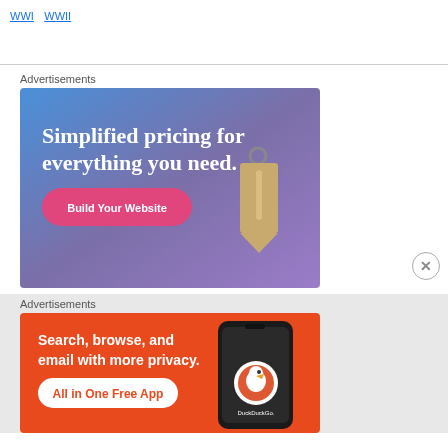WWI WWII
Advertisements
[Figure (illustration): Web hosting advertisement with gradient blue-purple background showing a price tag and text 'Simplified pricing for everything you need.' with a pink 'Build Your Website' button]
Advertisements
[Figure (illustration): DuckDuckGo advertisement on orange background showing a smartphone and text 'Search, browse, and email with more privacy. All in One Free App' with DuckDuckGo logo]